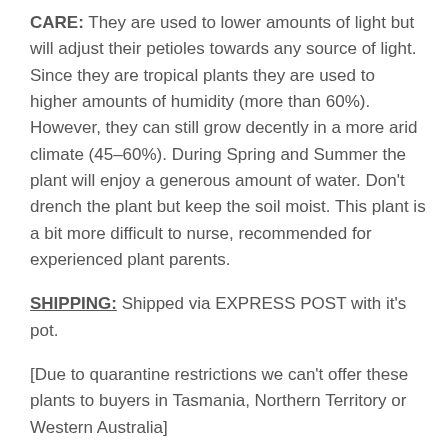CARE: They are used to lower amounts of light but will adjust their petioles towards any source of light. Since they are tropical plants they are used to higher amounts of humidity (more than 60%). However, they can still grow decently in a more arid climate (45–60%). During Spring and Summer the plant will enjoy a generous amount of water. Don't drench the plant but keep the soil moist. This plant is a bit more difficult to nurse, recommended for experienced plant parents.
SHIPPING: Shipped via EXPRESS POST with it's pot.
[Due to quarantine restrictions we can't offer these plants to buyers in Tasmania, Northern Territory or Western Australia]
Orders will be shipped on a Monday or Tuesday, with purchases made on Tuesdays after 2pm, sent on the following Monday.
We take appropriate measures to ensure ALL plants are packaged for safe travel, however if your plant is misplaced or damaged by Australia post in transit, we take no responsibility, as this is out of our